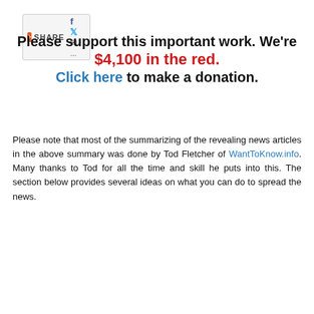[Figure (other): Share bar with social media icons: plus icon, SHARE text, Facebook icon, Twitter icon, email icon, ellipsis]
Please support this important work. We're $4,100 in the red. Click here to make a donation.
Please note that most of the summarizing of the revealing news articles in the above summary was done by Tod Fletcher of WantToKnow.info. Many thanks to Tod for all the time and skill he puts into this. The section below provides several ideas on what you can do to spread the news.
What you can do:
Contact your media and political representatives to inform them of the important news articles above. Urge them to study and bring publicity to this vital news. Invite them to read these articles and explore